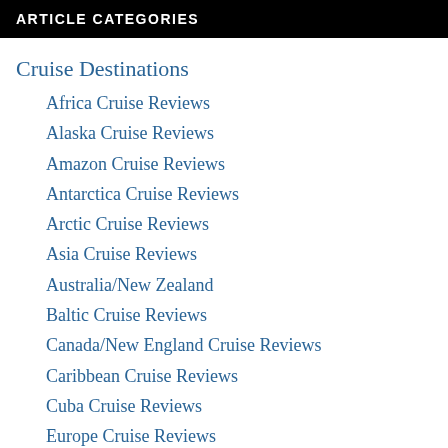ARTICLE CATEGORIES
Cruise Destinations
Africa Cruise Reviews
Alaska Cruise Reviews
Amazon Cruise Reviews
Antarctica Cruise Reviews
Arctic Cruise Reviews
Asia Cruise Reviews
Australia/New Zealand
Baltic Cruise Reviews
Canada/New England Cruise Reviews
Caribbean Cruise Reviews
Cuba Cruise Reviews
Europe Cruise Reviews